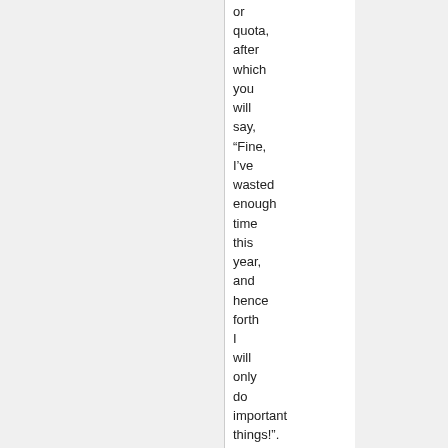or quota, after which you will say, “Fine, I’ve wasted enough time this year, and hence forth I will only do important things!”. Does that day ever actually come? If so, how long before you start feeling like